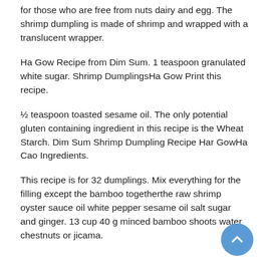for those who are free from nuts dairy and egg. The shrimp dumpling is made of shrimp and wrapped with a translucent wrapper.
Ha Gow Recipe from Dim Sum. 1 teaspoon granulated white sugar. Shrimp DumplingsHa Gow Print this recipe.
½ teaspoon toasted sesame oil. The only potential gluten containing ingredient in this recipe is the Wheat Starch. Dim Sum Shrimp Dumpling Recipe Har GowHa Cao Ingredients.
This recipe is for 32 dumplings. Mix everything for the filling except the bamboo togetherthe raw shrimp oyster sauce oil white pepper sesame oil salt sugar and ginger. 13 cup 40 g minced bamboo shoots water chestnuts or jicama.